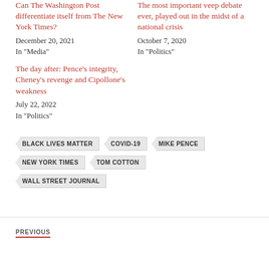Can The Washington Post differentiate itself from The New York Times?
December 20, 2021
In "Media"
The most important veep debate ever, played out in the midst of a national crisis
October 7, 2020
In "Politics"
The day after: Pence’s integrity, Cheney’s revenge and Cipollone’s weakness
July 22, 2022
In "Politics"
BLACK LIVES MATTER
COVID-19
MIKE PENCE
NEW YORK TIMES
TOM COTTON
WALL STREET JOURNAL
PREVIOUS